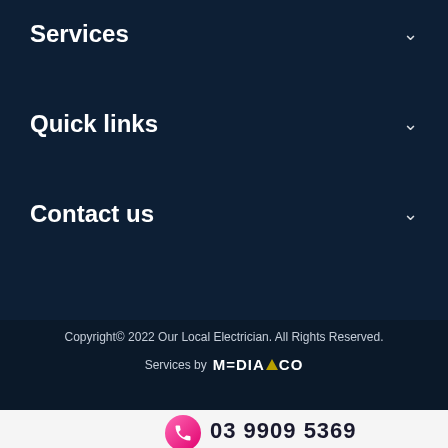Services
Quick links
Contact us
Copyright© 2022 Our Local Electrician. All Rights Reserved.
Services by MEDIACO
03 9909 5369